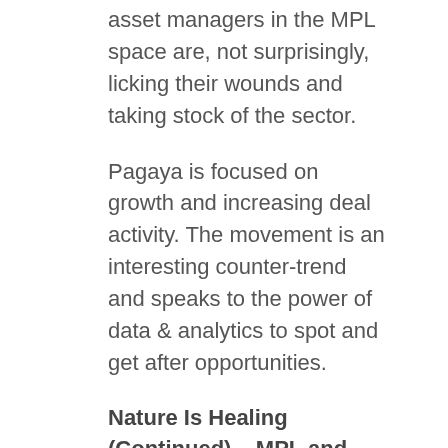asset managers in the MPL space are, not surprisingly, licking their wounds and taking stock of the sector.
Pagaya is focused on growth and increasing deal activity. The movement is an interesting counter-trend and speaks to the power of data & analytics to spot and get after opportunities.
Nature Is Healing (Continued) – MPL and Credit Markets Tighten
Last week, we showed that “nature is healing” and evidenced continued healing in credit markets.